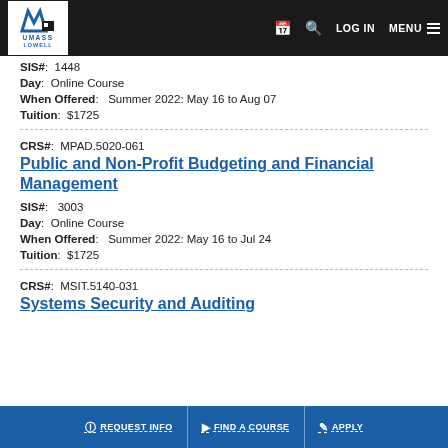UMass Lowell | LOG IN | MENU
SIS#:  1448
Day:  Online Course
When Offered:  Summer 2022: May 16 to Aug 07
Tuition:  $1725
CRS#:  MPAD.5020-061
Public and Non-Profit Budgeting and Financial Management
SIS#:  3003
Day:  Online Course
When Offered:  Summer 2022: May 16 to Jul 24
Tuition:  $1725
CRS#:  MSIT.5140-031
Systems Security and Auditing
REQUEST INFO | FIND A COURSE | APPLY